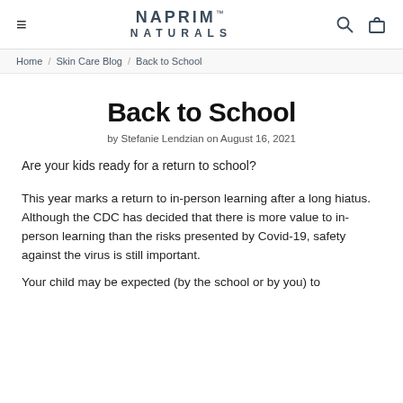NAPRIM™ NATURALS
Home / Skin Care Blog / Back to School
Back to School
by Stefanie Lendzian on August 16, 2021
Are your kids ready for a return to school?
This year marks a return to in-person learning after a long hiatus. Although the CDC has decided that there is more value to in-person learning than the risks presented by Covid-19, safety against the virus is still important.
Your child may be expected (by the school or by you) to